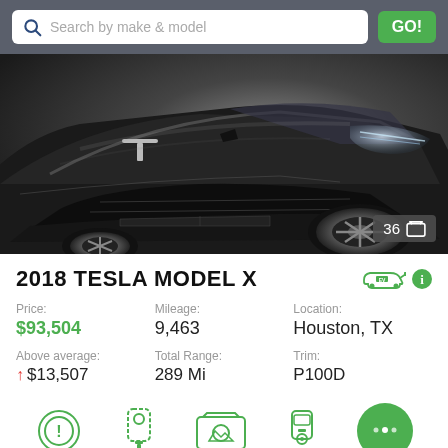Search by make & model
[Figure (photo): Front view of a black 2018 Tesla Model X SUV in a studio/showroom setting]
2018 TESLA MODEL X
Price: $93,504 | Mileage: 9,463 | Location: Houston, TX
Above average: ↑ $13,507 | Total Range: 289 Mi | Trim: P100D
[Figure (infographic): Bottom icon bar showing EV safety/feature icons and a green chat bubble icon]